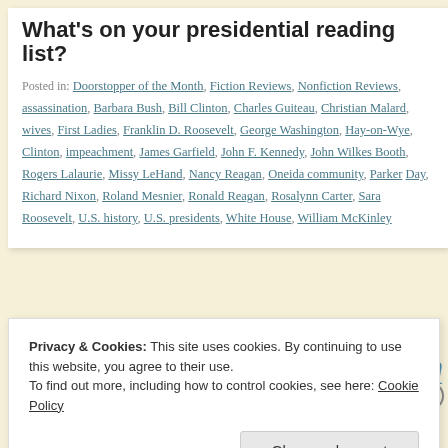What's on your presidential reading list?
Posted in: Doorstopper of the Month, Fiction Reviews, Nonfiction Reviews, assassination, Barbara Bush, Bill Clinton, Charles Guiteau, Christian Malard, wives, First Ladies, Franklin D. Roosevelt, George Washington, Hay-on-Wye, Clinton, impeachment, James Garfield, John F. Kennedy, John Wilkes Booth, Rogers Lalaurie, Missy LeHand, Nancy Reagan, Oneida community, Parker Day, Richard Nixon, Roland Mesnier, Ronald Reagan, Rosalynn Carter, Sara Roosevelt, U.S. history, U.S. presidents, White House, William McKinley
Privacy & Cookies: This site uses cookies. By continuing to use this website, you agree to their use.
To find out more, including how to control cookies, see here: Cookie Policy